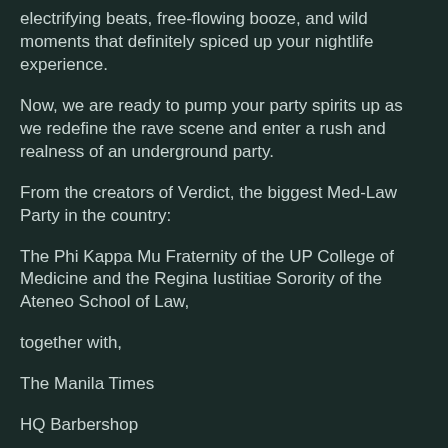electrifying beats, free-flowing booze, and wild moments that definitely spiced up your nightlife experience.
Now, we are ready to pump your party spirits up as we redefine the rave scene and enter a rush and realness of an underground party.
From the creators of Verdict, the biggest Med-Law Party in the country:
The Phi Kappa Mu Fraternity of the UP College of Medicine and the Regina Iustitiae Sorority of the Ateneo School of Law,
together with,
The Manila Times
HQ Barbershop
JUMPH Corp.